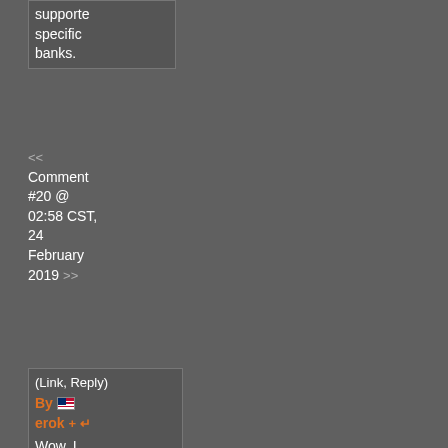supporte specific banks.
<< Comment #20 @ 02:58 CST, 24 February 2019 >>
(Link, Reply) By erok + Wow. I was using a mx518 from like 2003 until it died a couple years ago. Using some razor